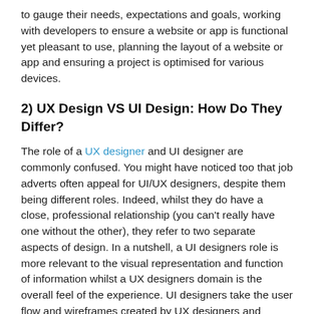to gauge their needs, expectations and goals, working with developers to ensure a website or app is functional yet pleasant to use, planning the layout of a website or app and ensuring a project is optimised for various devices.
2) UX Design VS UI Design: How Do They Differ?
The role of a UX designer and UI designer are commonly confused. You might have noticed too that job adverts often appeal for UI/UX designers, despite them being different roles. Indeed, whilst they do have a close, professional relationship (you can't really have one without the other), they refer to two separate aspects of design. In a nutshell, a UI designers role is more relevant to the visual representation and function of information whilst a UX designers domain is the overall feel of the experience. UI designers take the user flow and wireframes created by UX designers and breathe life into them, adding that final, glossy veneer.